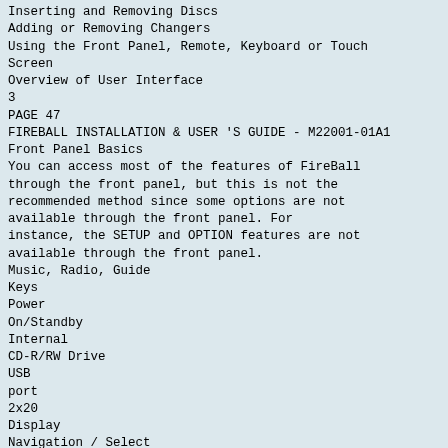Inserting and Removing Discs
Adding or Removing Changers
Using the Front Panel, Remote, Keyboard or Touch Screen
Overview of User Interface
3
PAGE 47
FIREBALL INSTALLATION & USER 'S GUIDE - M22001-01A1
Front Panel Basics
You can access most of the features of FireBall through the front panel, but this is not the recommended method since some options are not available through the front panel. For instance, the SETUP and OPTION features are not available through the front panel.
Music, Radio, Guide
Keys
Power
On/Standby
Internal
CD-R/RW Drive
USB
port
2x20
Display
Navigation / Select
Keys
transport
keys
CHAPTER 3 - GETTING STARTED
PAGE 48
FIREBALL INSTALLATION & USER 'S GUIDE - M22001-01A1
Using the Remote Control